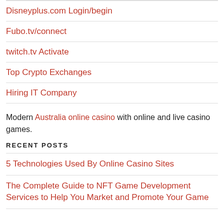Disneyplus.com Login/begin
Fubo.tv/connect
twitch.tv Activate
Top Crypto Exchanges
Hiring IT Company
Modern Australia online casino with online and live casino games.
RECENT POSTS
5 Technologies Used By Online Casino Sites
The Complete Guide to NFT Game Development Services to Help You Market and Promote Your Game